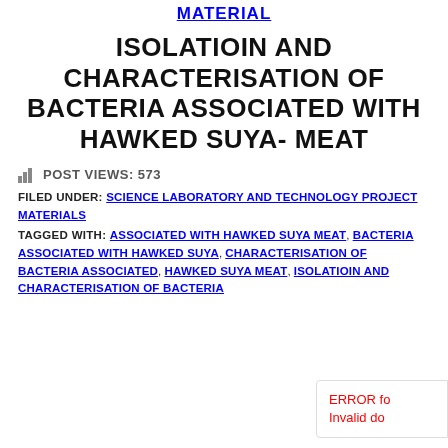MATERIAL
ISOLATIOIN AND CHARACTERISATION OF BACTERIA ASSOCIATED WITH HAWKED SUYA- MEAT
POST VIEWS: 573
FILED UNDER: SCIENCE LABORATORY AND TECHNOLOGY PROJECT MATERIALS
TAGGED WITH: ASSOCIATED WITH HAWKED SUYA MEAT, BACTERIA ASSOCIATED WITH HAWKED SUYA, CHARACTERISATION OF BACTERIA ASSOCIATED, HAWKED SUYA MEAT, ISOLATIOIN AND CHARACTERISATION OF BACTERIA
ERROR for Invalid do